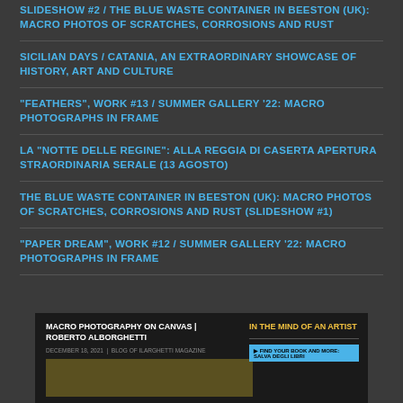SLIDESHOW #2 / THE BLUE WASTE CONTAINER IN BEESTON (UK): MACRO PHOTOS OF SCRATCHES, CORROSIONS AND RUST
SICILIAN DAYS / CATANIA, AN EXTRAORDINARY SHOWCASE OF HISTORY, ART AND CULTURE
“FEATHERS”, WORK #13 / SUMMER GALLERY ’22: MACRO PHOTOGRAPHS IN FRAME
LA “NOTTE DELLE REGINE”: ALLA REGGIA DI CASERTA APERTURA STRAORDINARIA SERALE (13 AGOSTO)
THE BLUE WASTE CONTAINER IN BEESTON (UK): MACRO PHOTOS OF SCRATCHES, CORROSIONS AND RUST (SLIDESHOW #1)
“PAPER DREAM”, WORK #12 / SUMMER GALLERY ’22: MACRO PHOTOGRAPHS IN FRAME
[Figure (screenshot): Preview of a blog/website with title 'MACRO PHOTOGRAPHY ON CANVAS | ROBERTO ALBORGHETTI', a date line, a sidebar titled 'IN THE MIND OF AN ARTIST' with a horizontal rule and a blue button, and a thumbnail image below.]